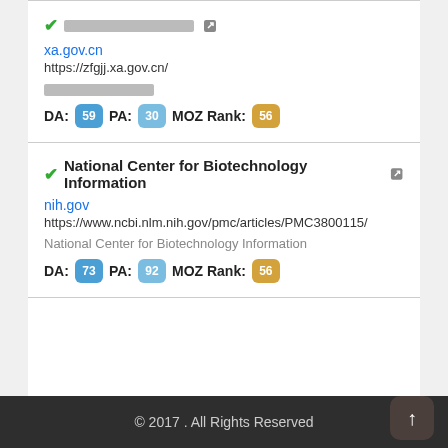[checkmark] [redacted title] [external link icon]
xa.gov.cn
https://zfgjj.xa.gov.cn/
[redacted description]
DA: 59 PA: 30 MOZ Rank: 56
[checkmark] National Center for Biotechnology Information [external link icon]
nih.gov
https://www.ncbi.nlm.nih.gov/pmc/articles/PMC3800115/
National Center for Biotechnology Information
DA: 73 PA: 92 MOZ Rank: 56
© 2017 . All Rights Reserved